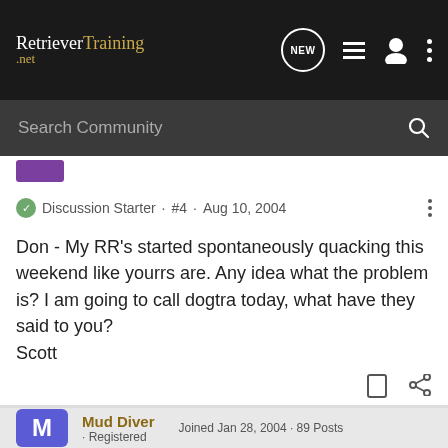RetrieverTraining.net
Search Community
Discussion Starter · #4 · Aug 10, 2004
Don - My RR's started spontaneously quacking this weekend like yourrs are. Any idea what the problem is? I am going to call dogtra today, what have they said to you?
Scott
Mud Diver · Registered
Joined Jan 28, 2004 · 89 Posts